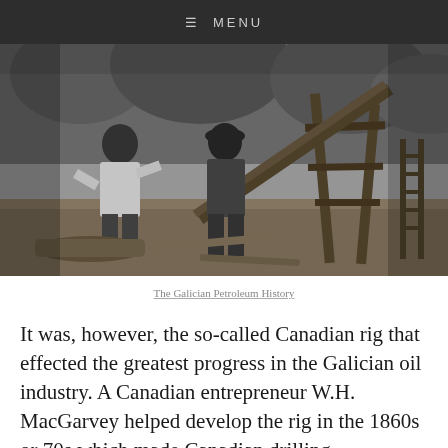☰ MENU
[Figure (photo): Black and white historical photograph of workers operating an early oil drilling rig with wooden framework structure, men standing around equipment in an outdoor wooded setting.]
The Galician Petroleum History
It was, however, the so-called Canadian rig that effected the greatest progress in the Galician oil industry. A Canadian entrepreneur W.H. MacGarvey helped develop the rig in the 1860s or 70s which made Canadian drilling technology and Ontario drillers famous